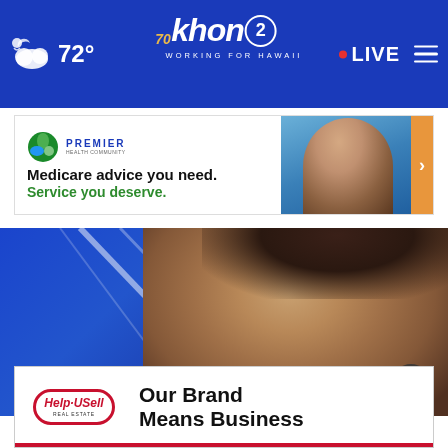72° khon2 WORKING FOR HAWAII LIVE
[Figure (screenshot): Premier Health Community advertisement: Medicare advice you need. Service you deserve.]
[Figure (photo): Close-up photo of Elon Musk's face against a blue background with structural lines]
[Figure (screenshot): Help-U-Sell Real Estate advertisement: Our Brand Means Business]